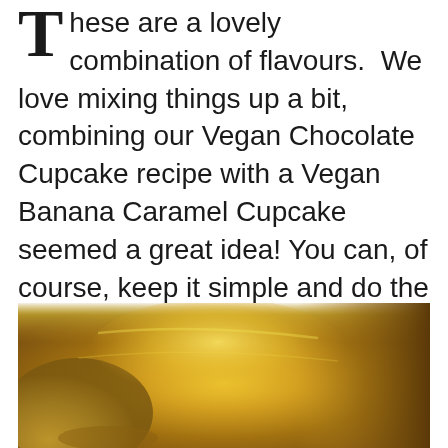These are a lovely combination of flavours. We love mixing things up a bit, combining our Vegan Chocolate Cupcake recipe with a Vegan Banana Caramel Cupcake seemed a great idea! You can, of course, keep it simple and do the Banana Caramel Cupcake only. For the Vegan Caramel you can get our recipe here.
[Figure (photo): Close-up photo of golden/amber colored vegan caramel sauce with a shiny, glossy appearance against a light background]